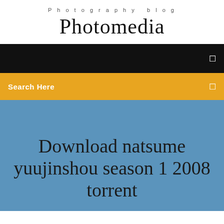Photography blog
Photomedia
[Figure (screenshot): Black navigation bar with a small white icon on the right]
[Figure (screenshot): Yellow/orange search bar with 'Search Here' text on left and a small white icon on right]
Download natsume yuujinshou season 1 2008 torrent